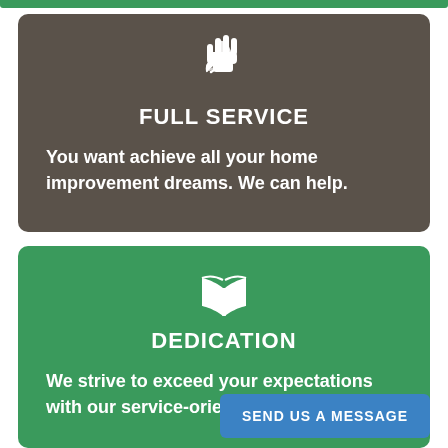[Figure (illustration): Green top bar strip at the very top of the page]
[Figure (illustration): Dark brown rounded card with a white hand/service icon, title FULL SERVICE, and body text about home improvement dreams]
FULL SERVICE
You want achieve all your home improvement dreams. We can help.
[Figure (illustration): Green rounded card with a white open book icon, title DEDICATION, body text about service, and a blue SEND US A MESSAGE button]
DEDICATION
We strive to exceed your expectations with our service-oriented attitude.
SEND US A MESSAGE